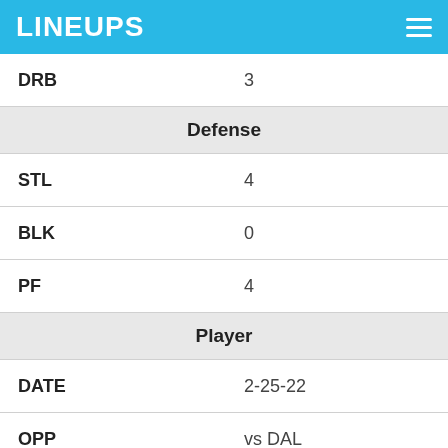LINEUPS
| DRB | 3 |
| Defense |  |
| STL | 4 |
| BLK | 0 |
| PF | 4 |
| Player |  |
| DATE | 2-25-22 |
| OPP | vs DAL |
| SCORE | W 114-109 |
| MINS | 30 |
| Fantasy Points |  |
| FPTS | 36.7 |
| FPTS/MIN | 1.2 |